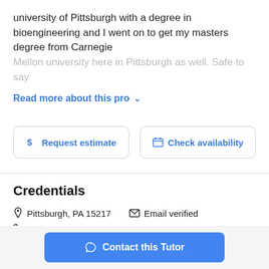university of Pittsburgh with a degree in bioengineering and I went on to get my masters degree from Carnegie Mellon university here in Pittsburgh as well. Safe to say
Read more about this pro ∨
$ Request estimate
Check availability
Credentials
Pittsburgh, PA 15217   Email verified
Phone verified
Contact this Tutor